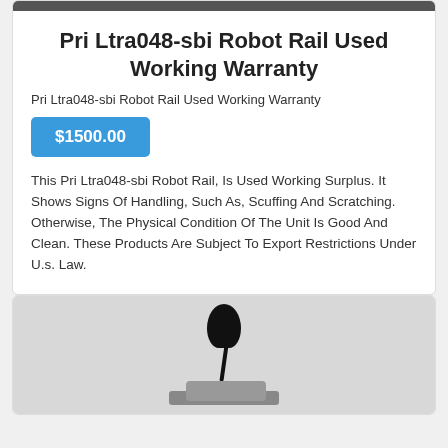[Figure (photo): Top portion of a product image (robot rail), cropped at top of page]
Pri Ltra048-sbi Robot Rail Used Working Warranty
Pri Ltra048-sbi Robot Rail Used Working Warranty
$1500.00
This Pri Ltra048-sbi Robot Rail, Is Used Working Surplus. It Shows Signs Of Handling, Such As, Scuffing And Scratching. Otherwise, The Physical Condition Of The Unit Is Good And Clean. These Products Are Subject To Export Restrictions Under U.s. Law.
[Figure (photo): Photo of a small black electronic component (possibly a sensor or motor part) on a white/gray background, partially visible at bottom of page]